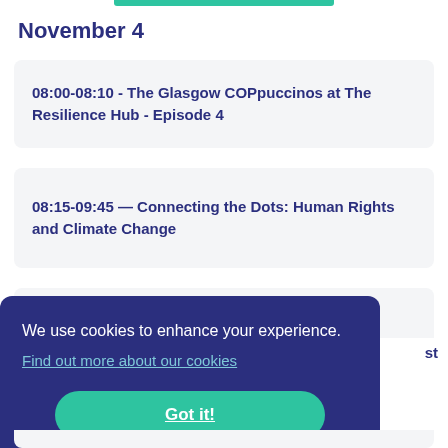November 4
08:00-08:10 - The Glasgow COPpuccinos at The Resilience Hub - Episode 4
08:15-09:45 — Connecting the Dots: Human Rights and Climate Change
We use cookies to enhance your experience.
Find out more about our cookies
Got it!